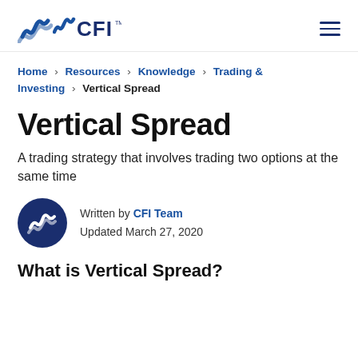CFI
Home > Resources > Knowledge > Trading & Investing > Vertical Spread
Vertical Spread
A trading strategy that involves trading two options at the same time
Written by CFI Team
Updated March 27, 2020
What is Vertical Spread?